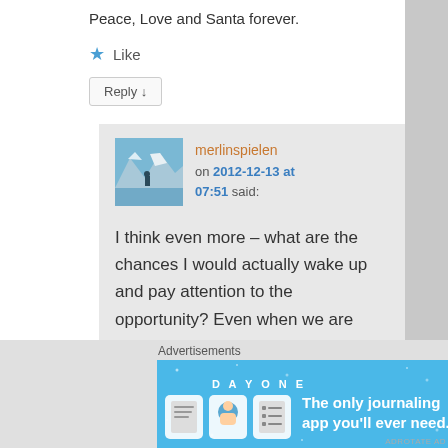Peace, Love and Santa forever.
★ Like
Reply ↓
[Figure (photo): Avatar thumbnail photo of a mountain lake scene with a person standing near the water, with mountains and glaciers in background.]
merlinspielen on 2012-12-13 at 07:51 said:
I think even more – what are the chances I would actually wake up and pay attention to the opportunity? Even when we are passing strangers it turns out we are all
Advertisements
[Figure (screenshot): Day One app advertisement banner. Blue background with 'DAY ONE' text, three app icons, and text 'The only journaling app you'll ever need.']